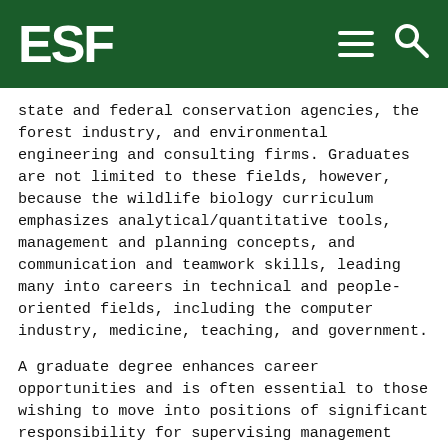ESF
state and federal conservation agencies, the forest industry, and environmental engineering and consulting firms. Graduates are not limited to these fields, however, because the wildlife biology curriculum emphasizes analytical/quantitative tools, management and planning concepts, and communication and teamwork skills, leading many into careers in technical and people-oriented fields, including the computer industry, medicine, teaching, and government.
A graduate degree enhances career opportunities and is often essential to those wishing to move into positions of significant responsibility for supervising management programs and conducting research projects. Graduate degrees substantially augment capabilities with computers and field biology, and provide valuable experience with problem-solving, communication and leadership. Certification by the American Fisheries Society also enhances career opportunities because many state and federal agencies